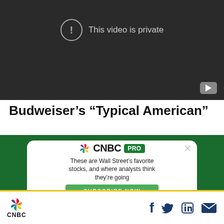[Figure (screenshot): Embedded video player with dark background showing 'This video is private' message with exclamation icon and YouTube logo in bottom right corner]
Budweiser's “Typical American”
[Figure (infographic): CNBC PRO advertisement banner on dark green background. White card with CNBC peacock logo and PRO badge. Text: 'These are Wall Street’s favorite stocks, and where analysts think they’re going'. Green Subscribe Now button. X close button.]
CNBC logo with social media icons: Facebook, Twitter, LinkedIn, Email